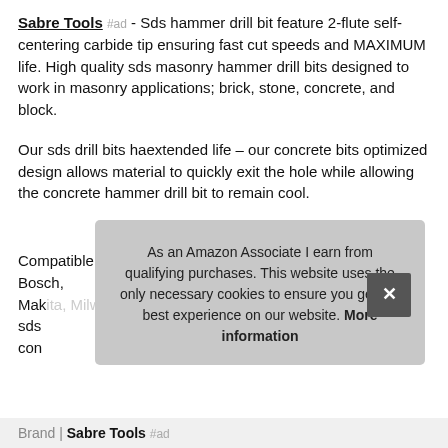Sabre Tools #ad - Sds hammer drill bit feature 2-flute self-centering carbide tip ensuring fast cut speeds and MAXIMUM life. High quality sds masonry hammer drill bits designed to work in masonry applications; brick, stone, concrete, and block.
Our sds drill bits haextended life – our concrete bits optimized design allows material to quickly exit the hole while allowing the concrete hammer drill bit to remain cool.
More information #ad
Compatible with all sds plus sized rotary hammer drills; Bosch, Mak... sds con...
As an Amazon Associate I earn from qualifying purchases. This website uses the only necessary cookies to ensure you get the best experience on our website. More information
Brand: Sabre Tools #ad